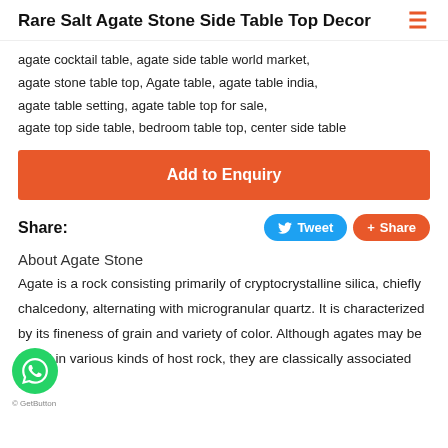Rare Salt Agate Stone Side Table Top Decor
agate cocktail table, agate side table world market, agate stone table top, Agate table, agate table india, agate table setting, agate table top for sale, agate top side table, bedroom table top, center side table
Add to Enquiry
Share:
About Agate Stone
Agate is a rock consisting primarily of cryptocrystalline silica, chiefly chalcedony, alternating with microgranular quartz. It is characterized by its fineness of grain and variety of color. Although agates may be found in various kinds of host rock, they are classically associated with